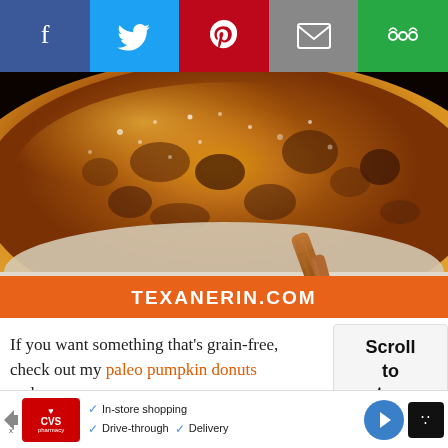[Figure (other): Social media share bar with Facebook (blue), Twitter (light blue), Pinterest (red), Email (gray), and More (green) buttons with white icons]
[Figure (photo): Close-up photo of a pumpkin muffin or baked good with a crumbly grain texture, dusted with sugar, with a cinnamon stick in the foreground on a white surface. Orange banner below reads TEXANERIN.COM]
If you want something that's grain-free, check out my paleo pumpkin donuts and
[Figure (other): Scroll to top widget with bold text reading 'Scroll to top']
[Figure (other): CVS Pharmacy advertisement banner with checkmarks listing: In-store shopping, Drive-through, Delivery, and a blue navigation arrow icon]